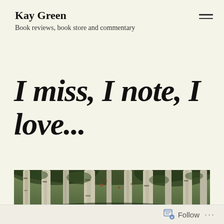Kay Green
Book reviews, book store and commentary
I miss, I note, I love...
[Figure (photo): A forest scene with pale birch or aspen tree trunks and dark foliage, appearing to be a painted or stylized image with muted greens and browns.]
Follow ...